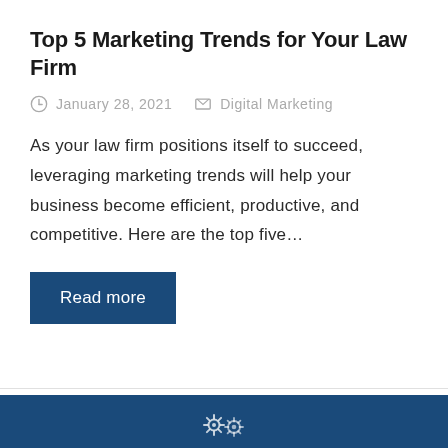Top 5 Marketing Trends for Your Law Firm
January 28, 2021   Digital Marketing
As your law firm positions itself to succeed, leveraging marketing trends will help your business become efficient, productive, and competitive. Here are the top five…
Read more
[Figure (other): Gear/settings icon on dark blue background footer]